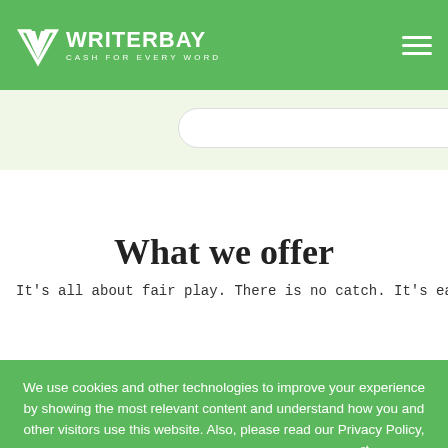WRITERBAY – CASH FOR EVERY WORD
What we offer
It's all about fair play. There is no catch. It's easy as it is:
We use cookies and other technologies to improve your experience by showing the most relevant content and understand how you and other visitors use this website. Also, please read our Privacy Policy, which has been updated and became effective June 1st, 2018.
I AGREE